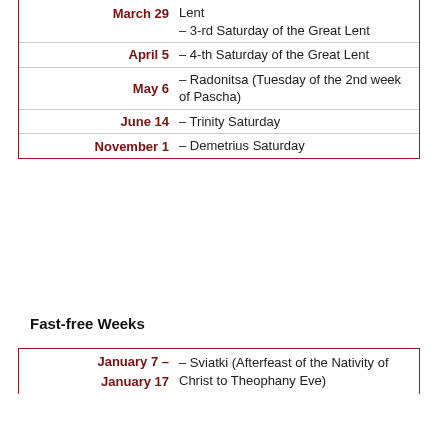| Date | Description |
| --- | --- |
| March 29 | – 3-rd Saturday of the Great Lent |
| April 5 | – 4-th Saturday of the Great Lent |
| May 6 | – Radonitsa (Tuesday of the 2nd week of Pascha) |
| June 14 | – Trinity Saturday |
| November 1 | – Demetrius Saturday |
Fast-free Weeks
| Date | Description |
| --- | --- |
| January 7 – January 17 | – Sviatki (Afterfeast of the Nativity of Christ to Theophany Eve) |